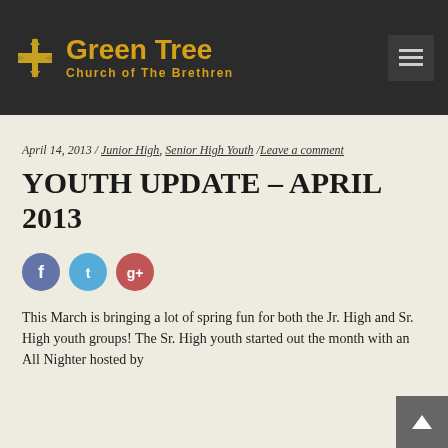Green Tree Church of The Brethren
April 14, 2013 / Junior High, Senior High Youth / Leave a comment
YOUTH UPDATE – APRIL 2013
[Figure (infographic): Social media share icons: Facebook (blue circle), Twitter (light blue circle), Google+ (red circle)]
This March is bringing a lot of spring fun for both the Jr. High and Sr. High youth groups! The Sr. High youth started out the month with an All Nighter hosted by